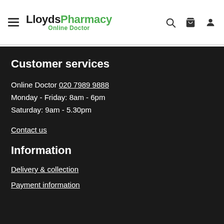LloydsPharmacy Online Doctor
Customer services
Online Doctor 020 7989 9888
Monday - Friday: 8am - 6pm
Saturday: 9am - 5.30pm
Contact us
Information
Delivery & collection
Payment information